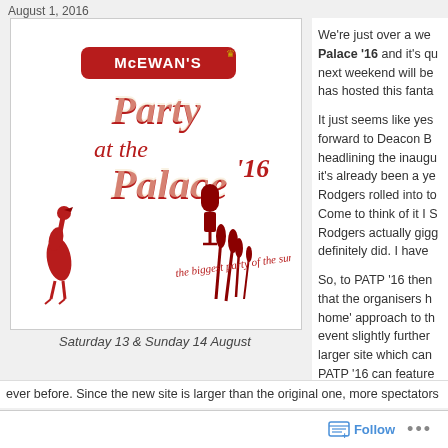August 1, 2016
[Figure (logo): McEwan's Party at the Palace '16 logo — red and cream script text on white background with flamingo and reeds. Tagline: the biggest party of the summer]
Saturday 13 & Sunday 14 August
We're just over a week away from Party at the Palace '16 and it's qu... next weekend will be... has hosted this fanta...
It just seems like yes... forward to Deacon B... headlining the inaugu... it's already been a ye... Rodgers rolled into to... Come to think of it I S... Rodgers actually gigg... definitely did. I have...
So, to PATP '16 then... that the organisers h... home' approach to th... event slightly further... larger site which can... PATP '16 can feature...
ever before.  Since the new site is larger than the original one, more spectators
Follow  ...